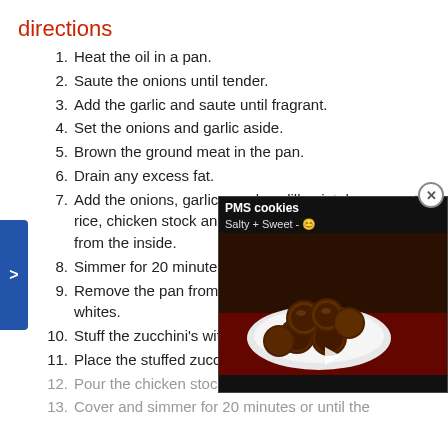directions
Heat the oil in a pan.
Saute the onions until tender.
Add the garlic and saute until fragrant.
Set the onions and garlic aside.
Brown the ground meat in the pan.
Drain any excess fat.
Add the onions, garlic, parsley, dill, mint, lemon zest, rice, chicken stock and the zucchini that was removed from the inside.
Simmer for 20 minutes
Remove the pan from th… whites.
Stuff the zucchini's with
Place the stuffed zucch…
Pour the chicken stock into the pan.
Cover and simmer for 20 minutes or until the
[Figure (screenshot): Video overlay showing 'PMS cookies Salty + Sweet' with image of chocolate cookies on a red plate, with a play button.]